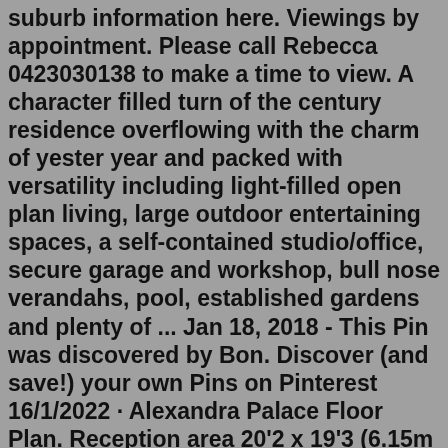suburb information here. Viewings by appointment. Please call Rebecca 0423030138 to make a time to view. A character filled turn of the century residence overflowing with the charm of yester year and packed with versatility including light-filled open plan living, large outdoor entertaining spaces, a self-contained studio/office, secure garage and workshop, bull nose verandahs, pool, established gardens and plenty of ... Jan 18, 2018 - This Pin was discovered by Bon. Discover (and save!) your own Pins on Pinterest 16/1/2022 · Alexandra Palace Floor Plan. Reception area 20'2 x 19'3 (6.15m x 5.86m). Ground floor plan Floor Plan: Plan 2468; 4 Beds; 3 Baths; 2,468 SQ FT; Site Plan. Available; Sold; Closed; Model Home; Custom Lot; Unavailable; Alder at Saratoga Estates; Manzanita at Saratoga Estates; Ponderosa at Saratoga Estates; Included Features. What Makes an Elliott Home So Special? Quality, energy efficient, easier on your pocketbook and kind to our ...20/8/2022 · View this 5 bedroom, 2 bathroom rental house at 14 Alexandra Road, Lilydale VIC 3140.